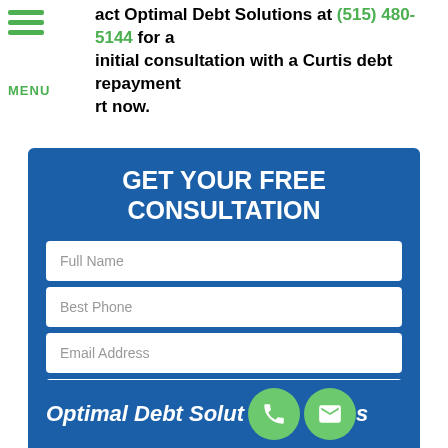act Optimal Debt Solutions at (515) 480-5144 for a initial consultation with a Curtis debt repayment rt now.
GET YOUR FREE CONSULTATION
[Figure (screenshot): Web form with fields: Full Name, Best Phone, Email Address, How Can We Help You With Your Debt?, and a green SUBMIT MY REQUEST button]
Optimal Debt Solutions